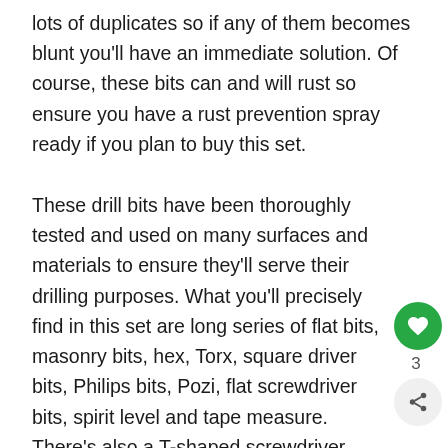lots of duplicates so if any of them becomes blunt you'll have an immediate solution. Of course, these bits can and will rust so ensure you have a rust prevention spray ready if you plan to buy this set.
These drill bits have been thoroughly tested and used on many surfaces and materials to ensure they'll serve their drilling purposes. What you'll precisely find in this set are long series of flat bits, masonry bits, hex, Torx, square driver bits, Philips bits, Pozi, flat screwdriver bits, spirit level and tape measure. There's also a T-shaped screwdriver with magnetic tip and 1-bit driv with magnetic tip.